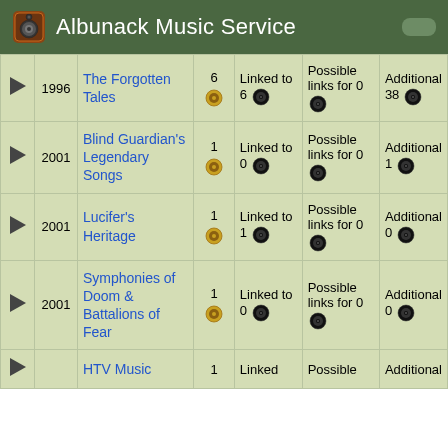Albunack Music Service
|  | Year | Title | Count | Linked | Possible links for | Additional |
| --- | --- | --- | --- | --- | --- | --- |
| ▶ | 1996 | The Forgotten Tales | 6 | Linked to 6 🎵 | Possible links for 0 🎵 | Additional 38 🎵 |
| ▶ | 2001 | Blind Guardian's Legendary Songs | 1 | Linked to 0 🎵 | Possible links for 0 🎵 | Additional 1 🎵 |
| ▶ | 2001 | Lucifer's Heritage | 1 | Linked to 1 🎵 | Possible links for 0 🎵 | Additional 0 🎵 |
| ▶ | 2001 | Symphonies of Doom & Battalions of Fear | 1 | Linked to 0 🎵 | Possible links for 0 🎵 | Additional 0 🎵 |
| ▶ | ... | HTV Music | 1 | Linked | Possible | Additional |